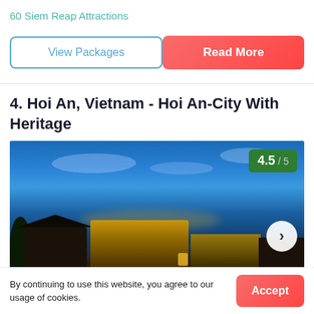60 Siem Reap Attractions
View Packages
Read More
4. Hoi An, Vietnam - Hoi An-City With Heritage
[Figure (photo): Nighttime photo of Hoi An ancient town buildings illuminated with warm lights against a deep blue evening sky with dramatic clouds. Rating badge showing 4.5/5 in green. Navigation arrow on right side.]
By continuing to use this website, you agree to our usage of cookies.
Accept